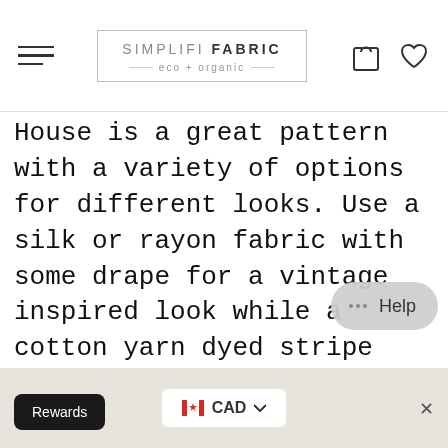SIMPLIFI FABRIC eco + organic
House is a great pattern with a variety of options for different looks. Use a silk or rayon fabric with some drape for a vintage inspired look while a cotton yarn dyed stripe can lend a more modern feel. The Tea House features: a V-neckline with front and back neck yokes, front seaming, in-seam angled pockets (for th
Rewards  CAD  x